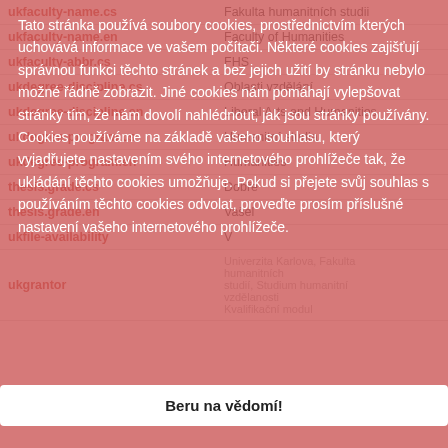| Field | Value |
| --- | --- |
| ukfaculty-name.cs | Fakulta humanitních studii |
| ukfaculty-name.en | Faculty of Humanities |
| ukfaculty-abbr.cs | FHS |
| ukdegree-discipline.cs | Oblasti vzdělání |
| ukdegree-discipline.en | Liberal Arts and Humanities |
| ukdegree-program.cs | Humanitní studia |
| ukdegree-program.en | Humanities |
| thesis.grade.cs | Dobře |
| thesis.grade.en | Vašel |
| ukfile-availability | V |
| ukgrantor | Univerzita Karlova, Fakulta humanitních studií, Studium humanitní vzdělanosti Kvalifikační modul |
Tato stránka používá soubory cookies, prostřednictvím kterých uchovává informace ve vašem počítači. Některé cookies zajišťují správnou funkci těchto stránek a bez jejich užití by stránku nebylo možné řádně zobrazit. Jiné cookies nám pomáhají vylepšovat stránky tím, že nám dovolí nahlédnout, jak jsou stránky používány. Cookies používáme na základě vašeho souhlasu, který vyjadřujete nastavením svého internetového prohlížeče tak, že ukládání těchto cookies umožňuje. Pokud si přejete svůj souhlas s používáním těchto cookies odvolat, proveďte prosím příslušné nastavení vašeho internetového prohlížeče.
Beru na vědomí!